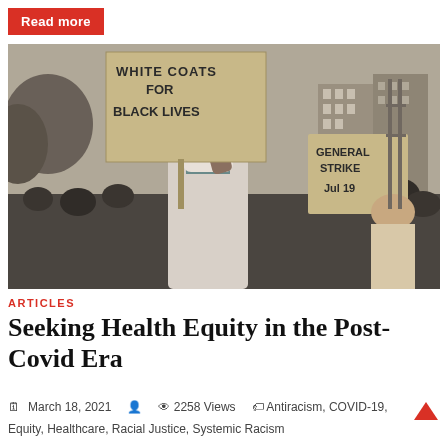Read more
[Figure (photo): A person in a white coat and face mask holding a sign reading 'White Coats for Black Lives' at a crowded outdoor protest. In the background, another sign reads 'General Strike Jul 19'.]
ARTICLES
Seeking Health Equity in the Post-Covid Era
March 18, 2021   2258 Views   Antiracism, COVID-19,
Equity, Healthcare, Racial Justice, Systemic Racism